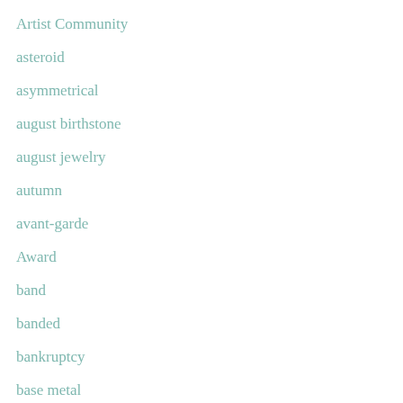Artist Community
asteroid
asymmetrical
august birthstone
august jewelry
autumn
avant-garde
Award
band
banded
bankruptcy
base metal
before & after